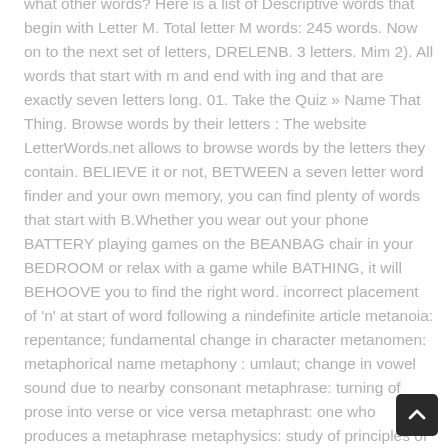what other words? Here is a list of Descriptive words that begin with Letter M. Total letter M words: 245 words. Now on to the next set of letters, DRELENB. 3 letters. Mim 2). All words that start with m and end with ing and that are exactly seven letters long. 01. Take the Quiz » Name That Thing. Browse words by their letters : The website LetterWords.net allows to browse words by the letters they contain. BELIEVE it or not, BETWEEN a seven letter word finder and your own memory, you can find plenty of words that start with B.Whether you wear out your phone BATTERY playing games on the BEANBAG chair in your BEDROOM or relax with a game while BATHING, it will BEHOOVE you to find the right word. incorrect placement of 'n' at start of word following a nindefinite article metanoia: repentance; fundamental change in character metanomen: metaphorical name metaphony : umlaut; change in vowel sound due to nearby consonant metaphrase: turning of prose into verse or vice versa metaphrast: one who produces a metaphrase metaphysics: study of principles of nature and thought
[Figure (other): Scroll-to-top button: dark square button with upward chevron arrow icon]